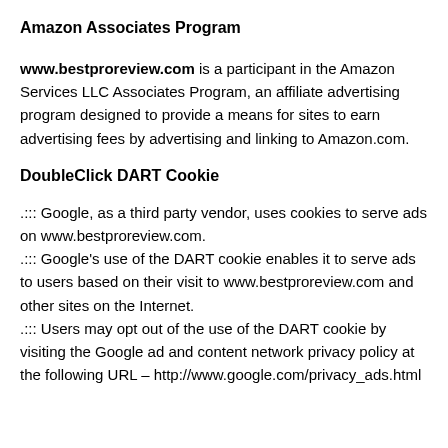Amazon Associates Program
www.bestproreview.com is a participant in the Amazon Services LLC Associates Program, an affiliate advertising program designed to provide a means for sites to earn advertising fees by advertising and linking to Amazon.com.
DoubleClick DART Cookie
.::: Google, as a third party vendor, uses cookies to serve ads on www.bestproreview.com.
.::: Google's use of the DART cookie enables it to serve ads to users based on their visit to www.bestproreview.com and other sites on the Internet.
.::: Users may opt out of the use of the DART cookie by visiting the Google ad and content network privacy policy at the following URL – http://www.google.com/privacy_ads.html